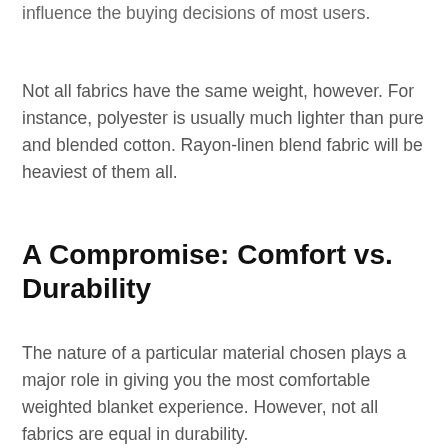influence the buying decisions of most users.
Not all fabrics have the same weight, however. For instance, polyester is usually much lighter than pure and blended cotton. Rayon-linen blend fabric will be heaviest of them all.
A Compromise: Comfort vs. Durability
The nature of a particular material chosen plays a major role in giving you the most comfortable weighted blanket experience. However, not all fabrics are equal in durability.